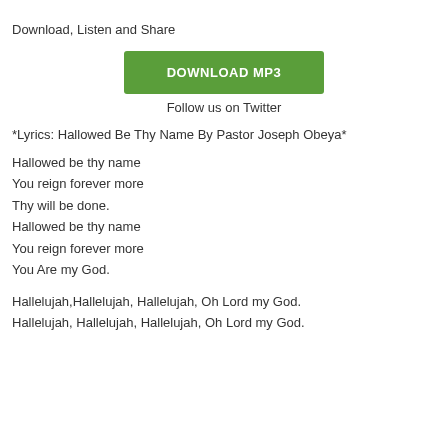Download, Listen and Share
[Figure (other): Green DOWNLOAD MP3 button]
Follow us on Twitter
*Lyrics: Hallowed Be Thy Name By Pastor Joseph Obeya*
Hallowed be thy name
You reign forever more
Thy will be done.
Hallowed be thy name
You reign forever more
You Are my God.
Hallelujah,Hallelujah, Hallelujah, Oh Lord my God.
Hallelujah, Hallelujah, Hallelujah, Oh Lord my God.